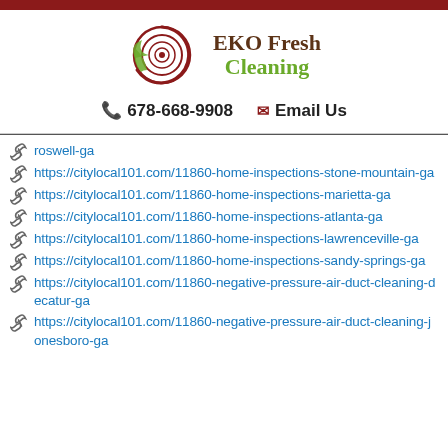[Figure (logo): EKO Fresh Cleaning logo with spiral circle and leaf design]
678-668-9908   Email Us
roswell-ga
https://citylocal101.com/11860-home-inspections-stone-mountain-ga
https://citylocal101.com/11860-home-inspections-marietta-ga
https://citylocal101.com/11860-home-inspections-atlanta-ga
https://citylocal101.com/11860-home-inspections-lawrenceville-ga
https://citylocal101.com/11860-home-inspections-sandy-springs-ga
https://citylocal101.com/11860-negative-pressure-air-duct-cleaning-decatur-ga
https://citylocal101.com/11860-negative-pressure-air-duct-cleaning-jonesboro-ga